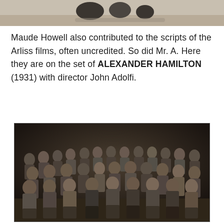[Figure (photo): Top partial black-and-white photograph, cropped, showing figures outdoors on sandy ground.]
Maude Howell also contributed to the scripts of the Arliss films, often uncredited. So did Mr. A. Here they are on the set of ALEXANDER HAMILTON (1931) with director John Adolfi.
[Figure (photo): Black-and-white group photograph of approximately 30 people posing together on what appears to be a film set, arranged in three rows — some seated, some standing. Taken on the set of Alexander Hamilton (1931).]